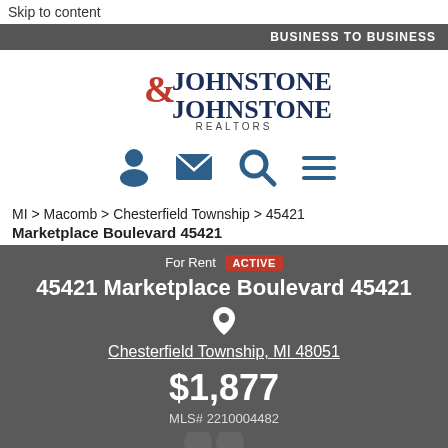Skip to content
BUSINESS TO BUSINESS
[Figure (logo): Johnstone & Johnstone Realtors logo with red ampersand]
[Figure (infographic): Navigation icons: person, envelope, magnifying glass, hamburger menu]
MI > Macomb > Chesterfield Township > 45421
Marketplace Boulevard 45421
For Rent ACTIVE
45421 Marketplace Boulevard 45421
Chesterfield Township, MI 48051
$1,877
MLS# 2210004482